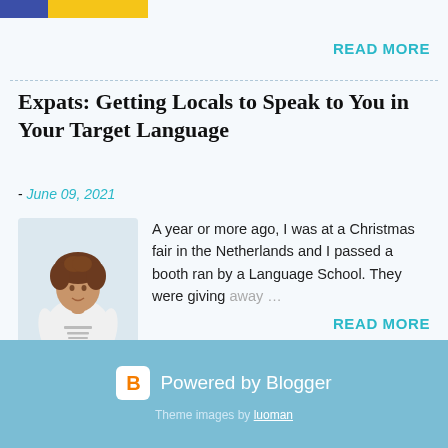[Figure (logo): Blue and yellow horizontal bar logo at top left]
READ MORE
Expats: Getting Locals to Speak to You in Your Target Language
- June 09, 2021
[Figure (photo): Young woman with curly hair wearing a white t-shirt and jeans]
A year or more ago, I was at a Christmas fair in the Netherlands and I passed a booth ran by a Language School. They were giving away …
READ MORE
Powered by Blogger
Theme images by luoman